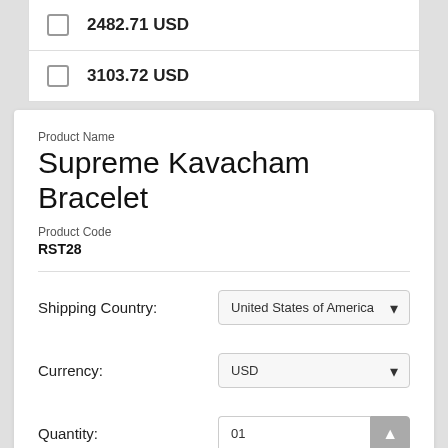2482.71 USD
3103.72 USD
Product Name
Supreme Kavacham Bracelet
Product Code
RST28
Shipping Country: United States of America
Currency: USD
Quantity: 01
Add to Cart